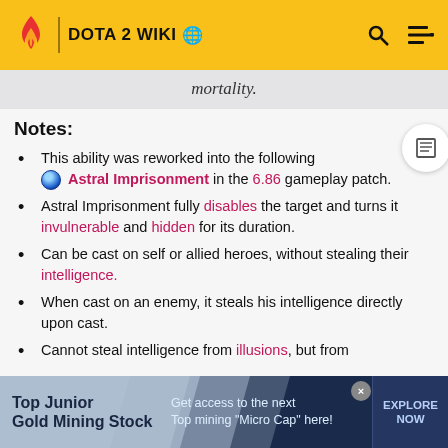DOTA 2 WIKI
mortality.
Notes:
This ability was reworked into the following Astral Imprisonment in the 6.86 gameplay patch.
Astral Imprisonment fully disables the target and turns it invulnerable and hidden for its duration.
Can be cast on self or allied heroes, without stealing their intelligence.
When cast on an enemy, it steals his intelligence directly upon cast.
Cannot steal intelligence from illusions, but from
[Figure (infographic): Advertisement banner: Top Junior Gold Mining Stock — Get access to the next Top mining Micro Cap here! — EXPLORE NOW]